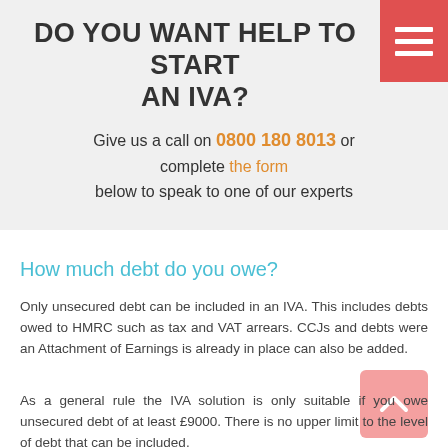DO YOU WANT HELP TO START AN IVA?
Give us a call on 0800 180 8013 or complete the form below to speak to one of our experts
How much debt do you owe?
Only unsecured debt can be included in an IVA. This includes debts owed to HMRC such as tax and VAT arrears. CCJs and debts were an Attachment of Earnings is already in place can also be added.
As a general rule the IVA solution is only suitable if you owe unsecured debt of at least £9000. There is no upper limit to the level of debt that can be included.
Secured debt such as a mortgage or car HP cannot be